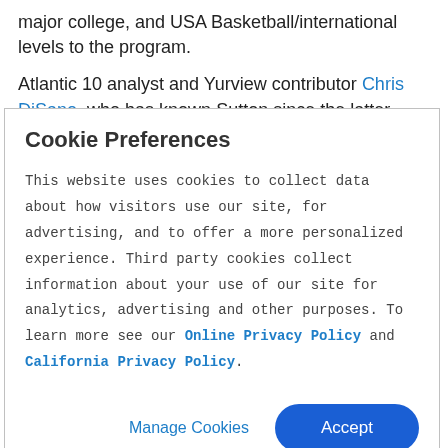major college, and USA Basketball/international levels to the program.
Atlantic 10 analyst and Yurview contributor Chris DiSano, who has known Sutton since the latter wrote as part of College Chalktalk's
Cookie Preferences
This website uses cookies to collect data about how visitors use our site, for advertising, and to offer a more personalized experience. Third party cookies collect information about your use of our site for analytics, advertising and other purposes. To learn more see our Online Privacy Policy and California Privacy Policy.
Manage Cookies  Accept